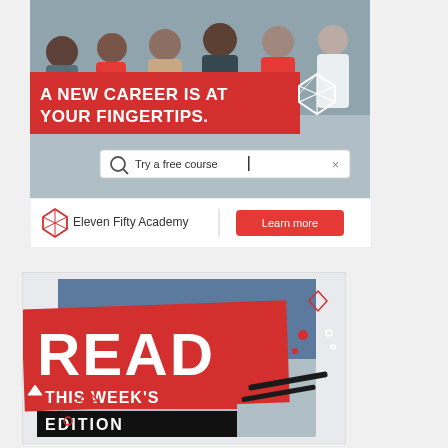[Figure (illustration): Eleven Fifty Academy advertisement showing young people on phones with red banner text 'A NEW CAREER IS AT YOUR FINGERTIPS.' and a search bar saying 'Try a free course']
[Figure (illustration): Promotional banner reading 'READ THIS WEEK'S EDITION' in large white text on a red background with decorative graphic elements]